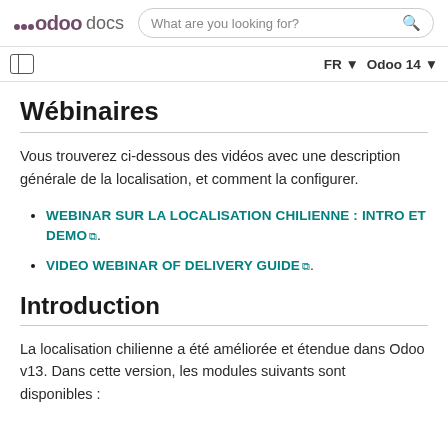odoo docs  |  What are you looking for?  |  FR  Odoo 14
Wébinaires
Vous trouverez ci-dessous des vidéos avec une description générale de la localisation, et comment la configurer.
WEBINAR SUR LA LOCALISATION CHILIENNE : INTRO ET DEMO.
VIDEO WEBINAR OF DELIVERY GUIDE.
Introduction
La localisation chilienne a été améliorée et étendue dans Odoo v13. Dans cette version, les modules suivants sont disponibles :